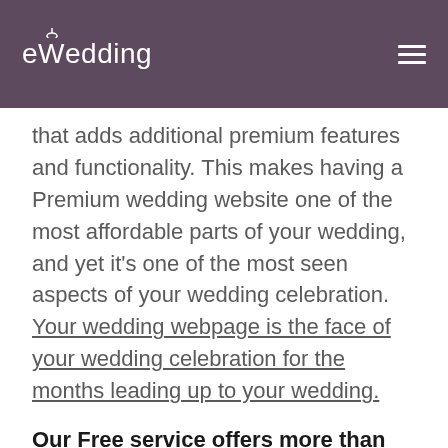eWedding
that adds additional premium features and functionality. This makes having a Premium wedding website one of the most affordable parts of your wedding, and yet it's one of the most seen aspects of your wedding celebration. Your wedding webpage is the face of your wedding celebration for the months leading up to your wedding.
Our Free service offers more than most paid services.
How is it that we created a service so much better than the other providers?
Because we didn't...